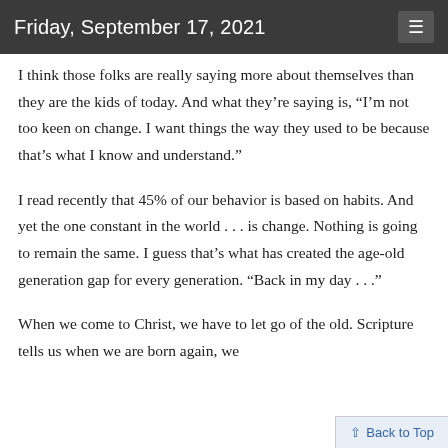Friday, September 17, 2021
I think those folks are really saying more about themselves than they are the kids of today. And what they're saying is, “I’m not too keen on change. I want things the way they used to be because that’s what I know and understand.”
I read recently that 45% of our behavior is based on habits. And yet the one constant in the world . . . is change. Nothing is going to remain the same. I guess that’s what has created the age-old generation gap for every generation. “Back in my day . . .”
When we come to Christ, we have to let go of the old. Scripture tells us when we are born again, we